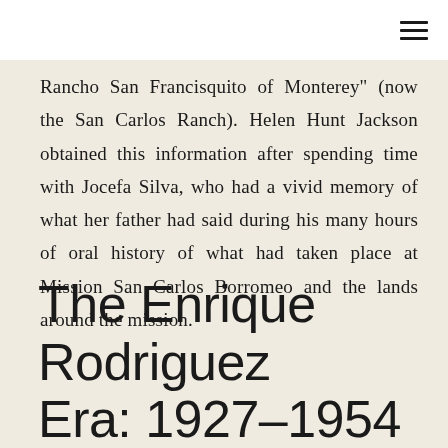≡
Rancho San Francisquito of Monterey" (now the San Carlos Ranch). Helen Hunt Jackson obtained this information after spending time with Jocefa Silva, who had a vivid memory of what her father had said during his many hours of oral history of what had taken place at Mission San Carlos Borromeo and the lands around the mission.
The Enrique Rodriguez Era: 1927–1954